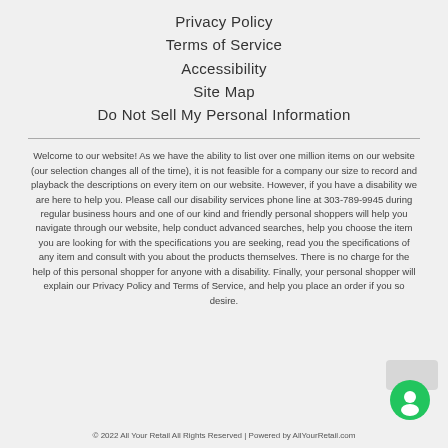Privacy Policy
Terms of Service
Accessibility
Site Map
Do Not Sell My Personal Information
Welcome to our website! As we have the ability to list over one million items on our website (our selection changes all of the time), it is not feasible for a company our size to record and playback the descriptions on every item on our website. However, if you have a disability we are here to help you. Please call our disability services phone line at 303-789-9945 during regular business hours and one of our kind and friendly personal shoppers will help you navigate through our website, help conduct advanced searches, help you choose the item you are looking for with the specifications you are seeking, read you the specifications of any item and consult with you about the products themselves. There is no charge for the help of this personal shopper for anyone with a disability. Finally, your personal shopper will explain our Privacy Policy and Terms of Service, and help you place an order if you so desire.
© 2022 All Your Retail All Rights Reserved | Powered by AllYourRetail.com